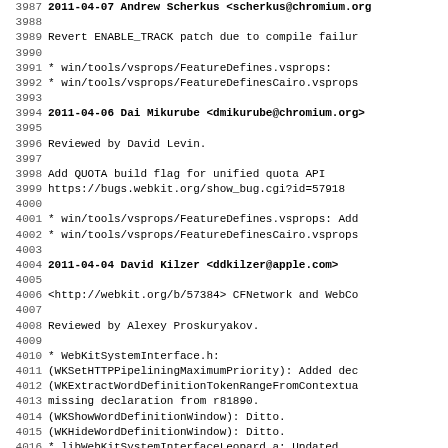Changelog/commit log excerpt, lines 3987-4019
3988 (blank)
3989     Revert ENABLE_TRACK patch due to compile failur
3990 (blank)
3991         * win/tools/vsprops/FeatureDefines.vsprops:
3992         * win/tools/vsprops/FeatureDefinesCairo.vsprops
3993 (blank)
3994 2011-04-06  Dai Mikurube  <dmikurube@chromium.org>
3995 (blank)
3996         Reviewed by David Levin.
3997 (blank)
3998         Add QUOTA build flag for unified quota API
3999         https://bugs.webkit.org/show_bug.cgi?id=57918
4000 (blank)
4001         * win/tools/vsprops/FeatureDefines.vsprops: Add
4002         * win/tools/vsprops/FeatureDefinesCairo.vsprops
4003 (blank)
4004 2011-04-04  David Kilzer  <ddkilzer@apple.com>
4005 (blank)
4006         <http://webkit.org/b/57384> CFNetwork and WebCo
4007 (blank)
4008         Reviewed by Alexey Proskuryakov.
4009 (blank)
4010         * WebKitSystemInterface.h:
4011         (WKSetHTTPPipeliningMaximumPriority): Added dec
4012         (WKExtractWordDefinitionTokenRangeFromContextua
4013         missing declaration from r81890.
4014         (WKShowWordDefinitionWindow): Ditto.
4015         (WKHideWordDefinitionWindow): Ditto.
4016         * libWebKitSystemInterfaceLeopard.a: Updated.
4017         * libWebKitSystemInterfaceSnowLeopard.a: Update
4018 (blank)
4019 2011-04-04  Steve Falkenburg  <sfalken@apple.com>